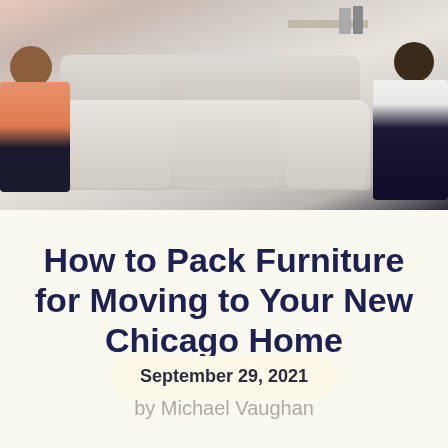[Figure (photo): Two people carrying a cream/beige sofa in a bright living room. A woman in an orange top is on the left, a man in a white shirt is on the right.]
September 29, 2021
How to Pack Furniture for Moving to Your New Chicago Home
by Michael Vaughan